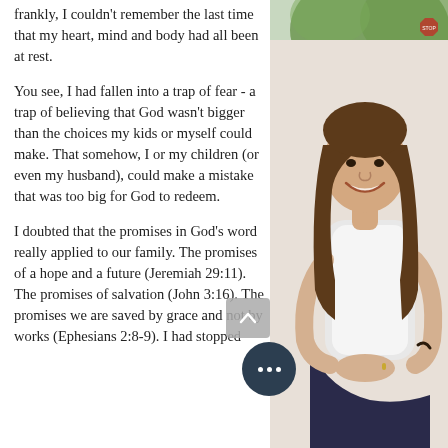frankly, I couldn't remember the last time that my heart, mind and body had all been at rest.
You see, I had fallen into a trap of fear - a trap of believing that God wasn't bigger than the choices my kids or myself could make. That somehow, I or my children (or even my husband), could make a mistake that was too big for God to redeem.
I doubted that the promises in God's word really applied to our family. The promises of a hope and a future (Jeremiah 29:11). The promises of salvation (John 3:16). The promises we are saved by grace and not by works (Ephesians 2:8-9). I had stopped
[Figure (photo): A smiling woman with long brown hair, wearing a white top and dark jeans, sitting casually with a leafy outdoor background.]